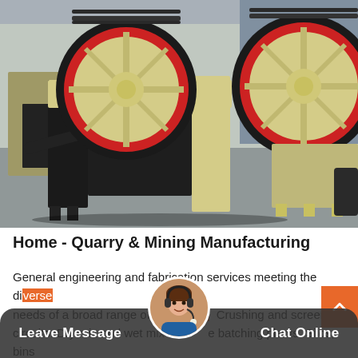[Figure (photo): Industrial jaw crusher machines, cream/yellow colored with large black rubber-rimmed flywheels with red hubs, photographed outdoors in a factory yard. Multiple units visible.]
Home - Quarry & Mining Manufacturing
General engineering and fabrication services meeting the diverse needs of a broad range of industries. Crushing and screening circuits. Dry mix and wet mix concrete batching plants. Silos, bins and chutes. Conveyors. Ladders, platforms, stairs and walkways…